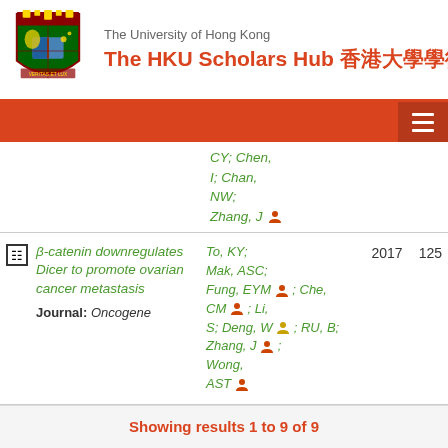The University of Hong Kong — The HKU Scholars Hub 香港大學學術庫
CY; Chen, I; Chan, NW; Zhang, J
β-catenin downregulates Dicer to promote ovarian cancer metastasis — Journal: Oncogene — Authors: To, KY; Mak, ASC; Fung, EYM; Che, CM; Li, S; Deng, W; RU, B; Zhang, J; Wong, AST — Year: 2017 — Cited: 125
Showing results 1 to 9 of 9